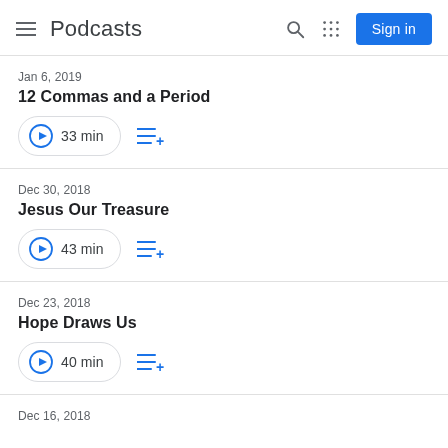Podcasts
Jan 6, 2019 · 12 Commas and a Period · 33 min
Dec 30, 2018 · Jesus Our Treasure · 43 min
Dec 23, 2018 · Hope Draws Us · 40 min
Dec 16, 2018